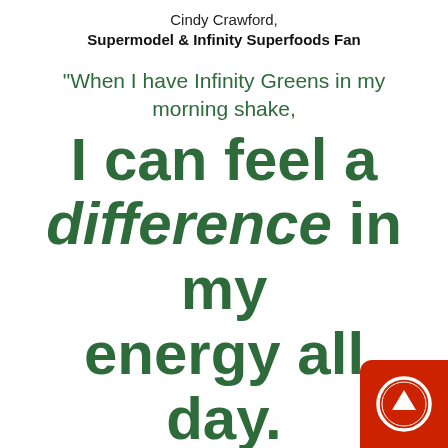Cindy Crawford,
Supermodel & Infinity Superfoods Fan
"When I have Infinity Greens in my morning shake, I can feel a difference in my energy all day. Thank you Billy!"
[Figure (illustration): Red rounded square button with white circle and white upward arrow icon, positioned in bottom-right corner]